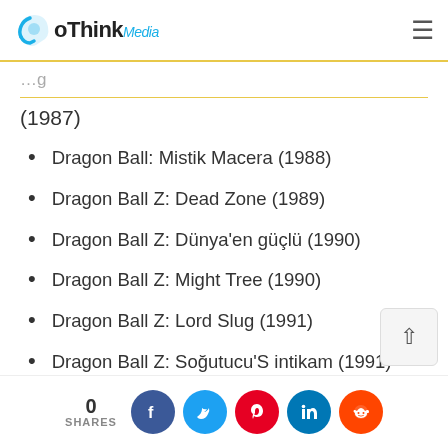GoThinkMedia
(1987)
Dragon Ball: Mistik Macera (1988)
Dragon Ball Z: Dead Zone (1989)
Dragon Ball Z: Dünya'en güçlü (1990)
Dragon Ball Z: Might Tree (1990)
Dragon Ball Z: Lord Slug (1991)
Dragon Ball Z: Soğutucu'S intikam (1991)
Dragon Ball Z: Soğutucunun Dönüşü (1992)
Dragon Ball Z: Süper Android 13! (1992)
Dragon Ball Z: Broly–Efsanevi Süper Saiyan (199…)
Dragon Ball Z: Broly–... (1993)
0 SHARES